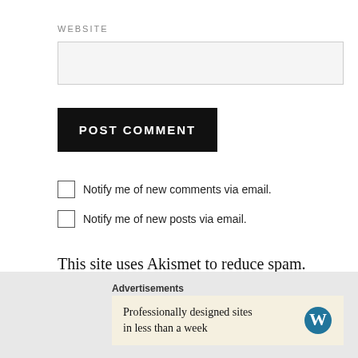WEBSITE
(website input field)
POST COMMENT
Notify me of new comments via email.
Notify me of new posts via email.
This site uses Akismet to reduce spam. Learn how your comment data is processed.
Advertisements
Professionally designed sites in less than a week